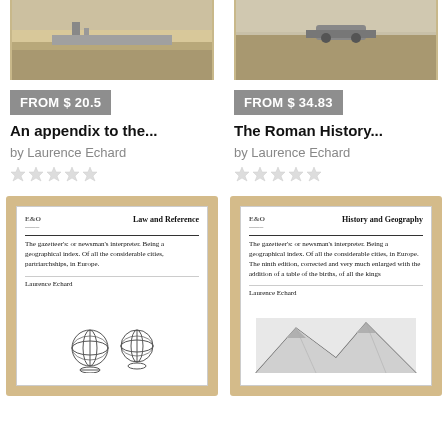[Figure (photo): Top portion of old photograph showing landscape/building, left book]
[Figure (photo): Top portion of old photograph showing landscape/vehicle, right book]
FROM $ 20.5
FROM $ 34.83
An appendix to the...
The Roman History...
by Laurence Echard
by Laurence Echard
[Figure (photo): Book cover for 'The gazetteer's: or newsman's interpreter. Being a geographical index. Of all the considerable cities, partriarchships, in Europe.' by Laurence Echard. Category: Law and Reference. Shows armillary sphere illustrations.]
[Figure (photo): Book cover for 'The gazetteer's: or newsman's interpreter. Being a geographical index. Of all the considerable cities, in Europe. The ninth edition, corrected and very much enlarged with the addition of a table of the births, of all the kings' by Laurence Echard. Category: History and Geography. Shows mountain illustration.]